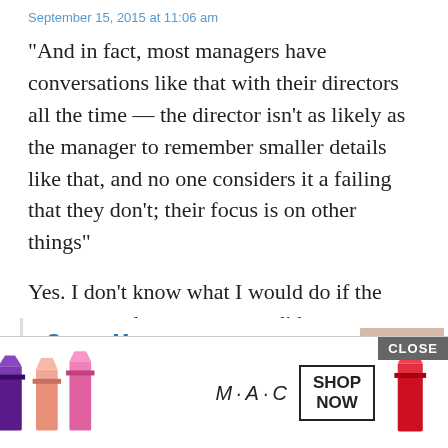September 15, 2015 at 11:06 am
“And in fact, most managers have conversations like that with their directors all the time — the director isn’t as likely as the manager to remember smaller details like that, and no one considers it a failing that they don’t; their focus is on other things”
Yes. I don’t know what I would do if the managers who report to me did not frequently and matter-of-factly tell me that I’m wrong or mis-remembering. It would be madness around here. Madness.
▾ Collapse 2 replies
Sonya Mann
September 15, 2015 at 3:40 pm
It’s a ... ent advi... tful
[Figure (photo): MAC cosmetics advertisement showing lipsticks in purple, salmon/pink, and red colors, with MAC logo, SHOP NOW button, and CLOSE button overlay.]